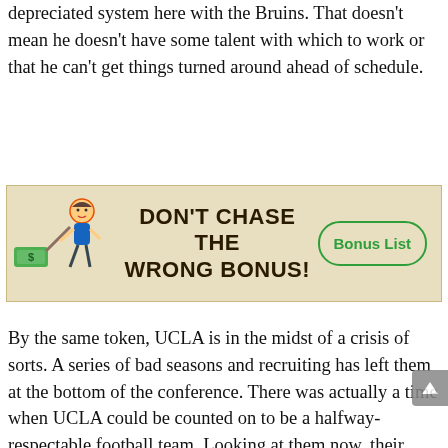depreciated system here with the Bruins. That doesn't mean he doesn't have some talent with which to work or that he can't get things turned around ahead of schedule.
[Figure (infographic): Advertisement banner with cartoon figure chasing money and text 'DON'T CHASE THE WRONG BONUS!' with a 'Bonus List' button]
By the same token, UCLA is in the midst of a crisis of sorts. A series of bad seasons and recruiting has left them at the bottom of the conference. There was actually a time when UCLA could be counted on to be a halfway-respectable football team. Looking at them now, their roster is thin. And their defense has become comical in recent seasons. Only a desultory Cincy offense kept that from coming more into light. But even at their worst, you could count on some offensive fireworks. On Saturday, Michigan transfer Wilton Speight, who possesses almost no traits that you would suspect to see in a Chip Kelly QB, got the start. After hurting his back, he was replaced by freshman Dorian Thompson-Robinson, a strong-armed QB who might become good, but is still showing a lot of green. That's true for a lot of positions on this team, including